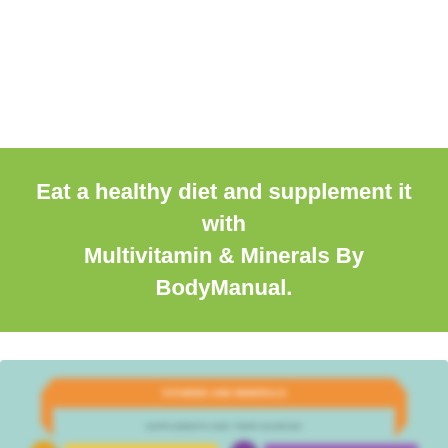Eat a healthy diet and supplement it with Multivitamin & Minerals By BodyManual.
[Figure (infographic): Partially visible, blurred infographic on a teal/mint background showing an orange ribbon banner at the top, a sub-label row, two pill supplement items side by side (one with yellow bar and orange circle, one with purple bar and purple circle), and blurred supplement bottle figures at the bottom.]